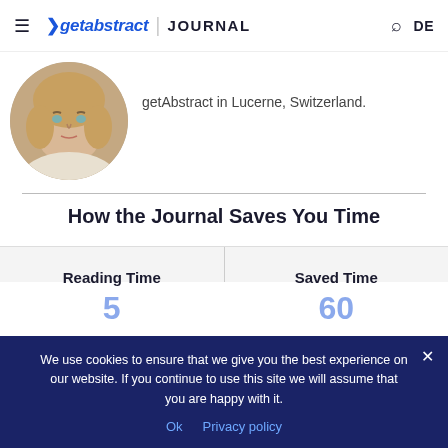getabstract | JOURNAL
getAbstract in Lucerne, Switzerland.
[Figure (photo): Circular headshot of a woman with blonde hair]
How the Journal Saves You Time
[Figure (infographic): Two column layout with hourglass icon labeled Reading Time and clock icon labeled Saved Time]
We use cookies to ensure that we give you the best experience on our website. If you continue to use this site we will assume that you are happy with it.
Ok   Privacy policy